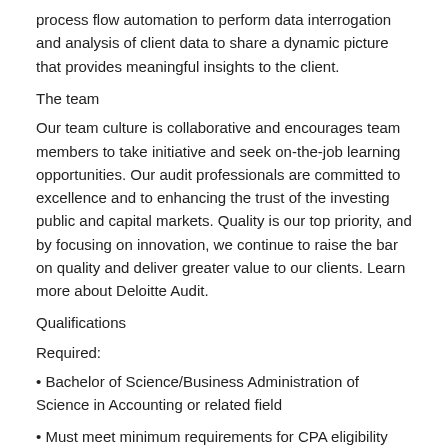process flow automation to perform data interrogation and analysis of client data to share a dynamic picture that provides meaningful insights to the client.
The team
Our team culture is collaborative and encourages team members to take initiative and seek on-the-job learning opportunities. Our audit professionals are committed to excellence and to enhancing the trust of the investing public and capital markets. Quality is our top priority, and by focusing on innovation, we continue to raise the bar on quality and deliver greater value to our clients. Learn more about Deloitte Audit.
Qualifications
Required:
• Bachelor of Science/Business Administration of Science in Accounting or related field
• Must meet minimum requirements for CPA eligibility before beginning full-time employment
• Ability to travel up to 50%, on average, based on the work you do and the clients and industries/sectors you serve